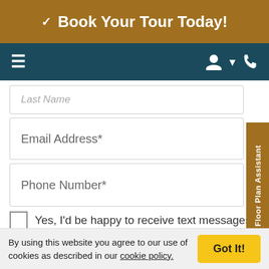Book Your Tour Today!
[Figure (screenshot): Navigation bar with hamburger menu icon on left and user/phone icons on right, on dark teal background]
Last Name
Email Address*
Phone Number*
Yes, I'd be happy to receive text messages!
Show More
Add a message
Floor Plan Assistant
By using this website you agree to our use of cookies as described in our cookie policy.
Got It!